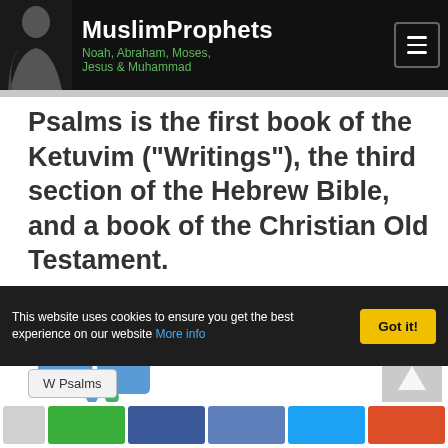MuslimProphets Noah, Abraham, Moses, Jesus & Muhammad
Psalms is the first book of the Ketuvim ("Writings"), the third section of the Hebrew Bible, and a book of the Christian Old Testament.
The book is an anthology of individual psalms with 150 in the Jewish and Western Christian tradition and more in
This website uses cookies to ensure you get the best experience on our website More info
W Psalms